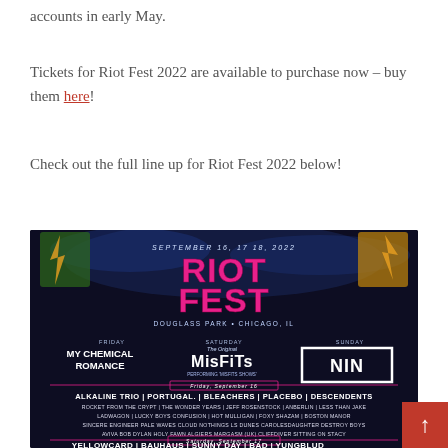accounts in early May.
Tickets for Riot Fest 2022 are available to purchase now – buy them here!
Check out the full line up for Riot Fest 2022 below!
[Figure (photo): Riot Fest 2022 festival lineup poster. September 16, 17, 18, 2022. Douglass Park, Chicago, IL. Headliners: Friday – My Chemical Romance; Saturday – The Original Misfits (Performing 'Misfits Shows');  Sunday – NIN (Nine Inch Nails). Friday September 16: Alkaline Trio, Portugal. The Man, Bleachers, Placebo, Descendents, Rocket from the Crypt, The Wonder Years, Jeff Rosenstock, Anberlin, Less Than Jake, Ladwagon, Lucky Boys Confusion, Hot Mulligan, Foxy Shazam, Boston Manor, Sincere Engineer, Pale Waves, Cloud Nothings, LS Dunes, Carolesdaughter, Destroy Boys, Aviva, Bob Dylan, Holy Fawn, Algiers, Margasm (UK), Cliffdiver, Sitting on Stacy. Saturday September 17: Yellowcard, Bauhaus, Sunny Day Real Estate, Bad Religion, Yungblud, The Story So Far, The Front Bottoms, The Menzingers, Alexisonfire, Movements, IYDM...]